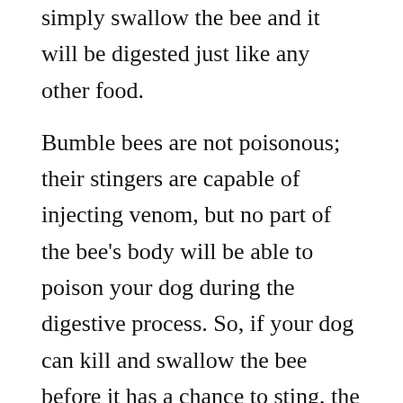simply swallow the bee and it will be digested just like any other food.
Bumble bees are not poisonous; their stingers are capable of injecting venom, but no part of the bee's body will be able to poison your dog during the digestive process. So, if your dog can kill and swallow the bee before it has a chance to sting, the dog will most likely escape without experiencing any unpleasant side effects from the encounter.
There are times, though, when the dog may attempt to swallow the bee before it has died. If this happens, the bee is most likely furious and